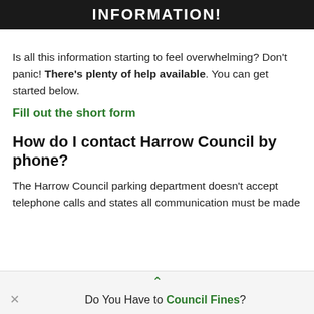[Figure (photo): Dark banner image with white bold uppercase text reading 'INFORMATION!']
Is all this information starting to feel overwhelming? Don't panic! There's plenty of help available. You can get started below.
Fill out the short form
How do I contact Harrow Council by phone?
The Harrow Council parking department doesn't accept telephone calls and states all communication must be made
Do You Have to Council Fines?